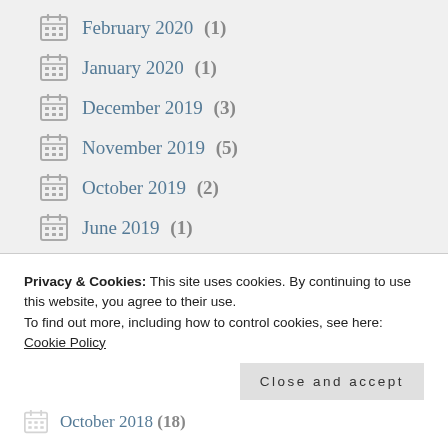February 2020 (1)
January 2020 (1)
December 2019 (3)
November 2019 (5)
October 2019 (2)
June 2019 (1)
May 2019 (3)
April 2019 (5)
March 2019 (6)
Privacy & Cookies: This site uses cookies. By continuing to use this website, you agree to their use.
To find out more, including how to control cookies, see here: Cookie Policy
Close and accept
October 2018 (18)